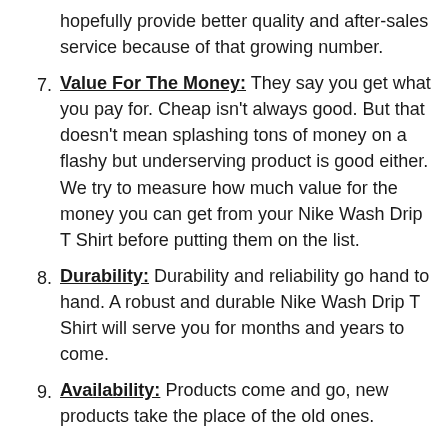(continuation) is good. Secondly, the manufacturers will hopefully provide better quality and after-sales service because of that growing number.
7. Value For The Money: They say you get what you pay for. Cheap isn't always good. But that doesn't mean splashing tons of money on a flashy but underserving product is good either. We try to measure how much value for the money you can get from your Nike Wash Drip T Shirt before putting them on the list.
8. Durability: Durability and reliability go hand to hand. A robust and durable Nike Wash Drip T Shirt will serve you for months and years to come.
9. Availability: Products come and go, new products take the place of the old ones.